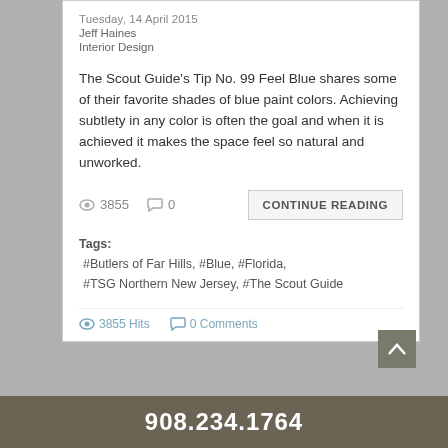Tuesday, 14 April 2015
Jeff Haines
Interior Design
The Scout Guide's Tip No. 99 Feel Blue shares some of their favorite shades of blue paint colors.  Achieving subtlety in any color is often the goal and when it is achieved it makes the space feel so natural and unworked.
👁 3855   💬 0   CONTINUE READING
Tags:
 #Butlers of Far Hills, #Blue, #Florida,
 #TSG Northern New Jersey, #The Scout Guide
👁 3855 Hits   💬 0 Comments
908.234.1764